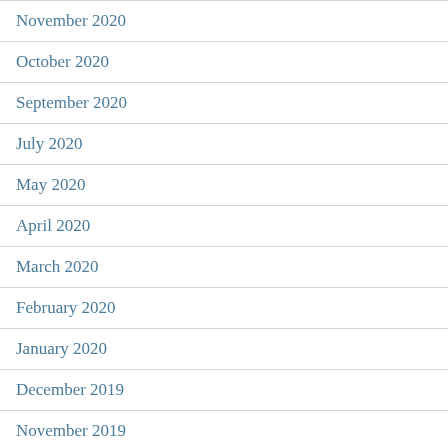November 2020
October 2020
September 2020
July 2020
May 2020
April 2020
March 2020
February 2020
January 2020
December 2019
November 2019